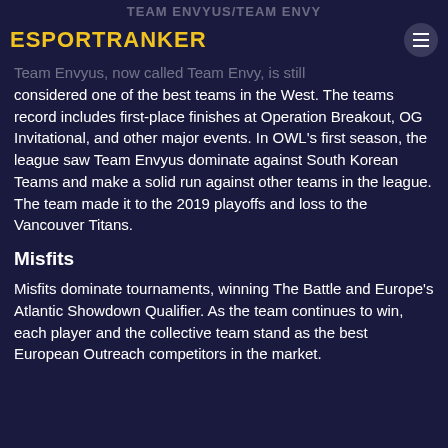TEAM ENVYUS/TEAM ENVY
ESPORTRANKER
Team Envyus, now called Team Envy, is still considered one of the best teams in the West. The teams record includes first-place finishes at Operation Breakout, OG Invitational, and other major events. In OWL's first season, the league saw Team Envyus dominate against South Korean Teams and make a solid run against other teams in the league. The team made it to the 2019 playoffs and loss to the Vancouver Titans.
Misfits
Misfits dominate tournaments, winning The Battle and Europe's Atlantic Showdown Qualifier. As the team continues to win, each player and the collective team stand as the best European Outreach competitors in the market.